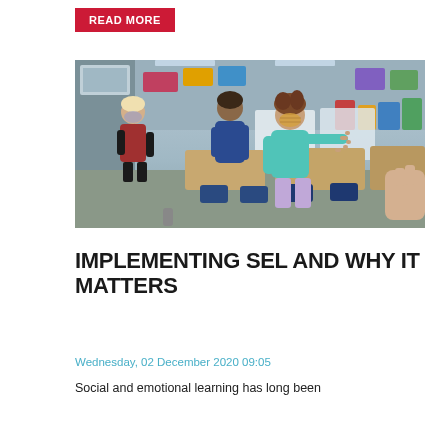READ MORE
[Figure (photo): Children in a classroom wearing masks, doing an activity. A girl in a teal hoodie and patterned mask stands in the center reaching out her hand.]
IMPLEMENTING SEL AND WHY IT MATTERS
Wednesday, 02 December 2020 09:05
Social and emotional learning has long been